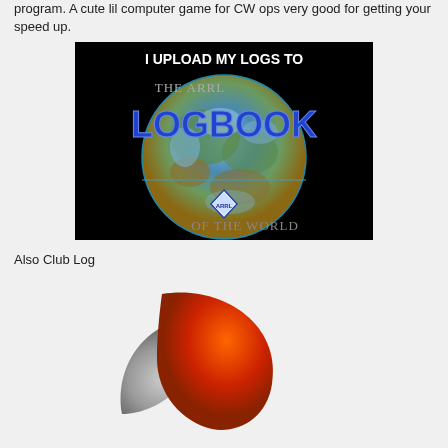program. A cute lil computer game for CW ops very good for getting your speed up.
[Figure (logo): ARRL Logbook of the World promotional badge: black background with globe, text 'I UPLOAD MY LOGS TO THE ARRL LOGBOOK OF THE WORLD' with ARRL diamond logo]
Also Club Log
[Figure (logo): Club Log logo: orange and grey swoosh/teardrop shapes forming a circular logo]